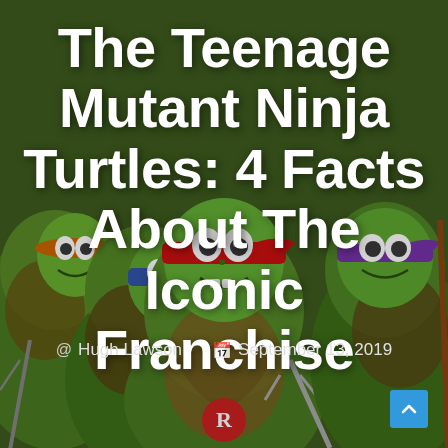[Figure (illustration): Background illustration of the four Teenage Mutant Ninja Turtles cartoon characters in green, with red, blue, orange, and purple bandanas, holding weapons, against a dark green background.]
The Teenage Mutant Ninja Turtles: 4 Facts About The Iconic Franchise
Hugh Lawson  September 13, 2019